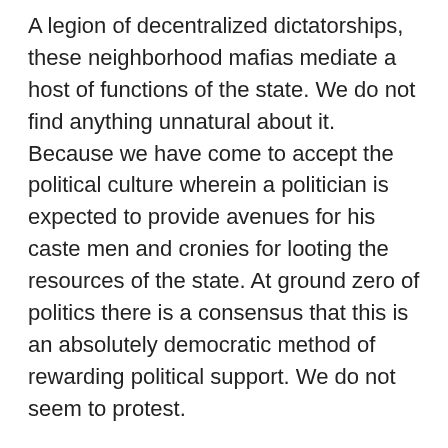A legion of decentralized dictatorships, these neighborhood mafias mediate a host of functions of the state. We do not find anything unnatural about it. Because we have come to accept the political culture wherein a politician is expected to provide avenues for his caste men and cronies for looting the resources of the state. At ground zero of politics there is a consensus that this is an absolutely democratic method of rewarding political support. We do not seem to protest.
They are not the antiheroic outlaws hounded by police, marked by the enemy's bullet, as popularized by movies. The one surefire formula of political patronage earns our Mafia the homage of the law enforcement officials. Their control of the institutional environment allows them to enjoy the fruits of their crime and die in bed of old age. But some day things do slip and go out of hand.